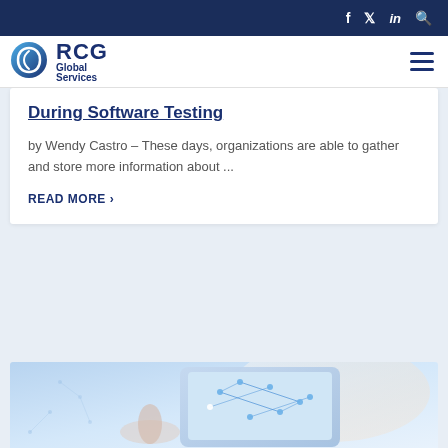RCG Global Services — Navigation bar with social icons (Facebook, Twitter, LinkedIn, Search)
[Figure (logo): RCG Global Services logo with circular shield icon in blue gradient and text 'RCG Global Services']
During Software Testing
by Wendy Castro – These days, organizations are able to gather and store more information about ...
READ MORE >
[Figure (photo): Technology photo showing a tablet or screen with network/connectivity graphic overlay in blue tones, partially visible at bottom of page]